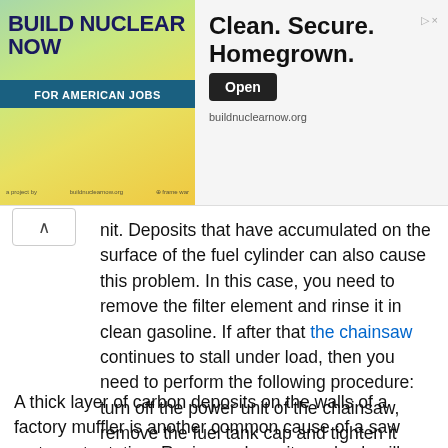[Figure (screenshot): Advertisement banner for buildnuclearnow.org showing 'BUILD NUCLEAR NOW FOR AMERICAN JOBS' on the left with a green/yellow background, and 'Clean. Secure. Homegrown.' tagline with an 'Open' button and the URL buildnuclearnow.org on the right.]
nit. Deposits that have accumulated on the surface of the fuel cylinder can also cause this problem. In this case, you need to remove the filter element and rinse it in clean gasoline. If after that the chainsaw continues to stall under load, then you need to perform the following procedure: turn off the power unit of the chainsaw, remove the fuel tank cap and tighten it again. If after that the motor of the gas-powered tool starts to gain momentum and after 5 minutes of operation it stalls again, then the cause of the breakdown is a faulty breather.
A thick layer of carbon deposits on the walls of a factory muffler is another common cause of a saw motor not rotating. Resinous deposits and ash will